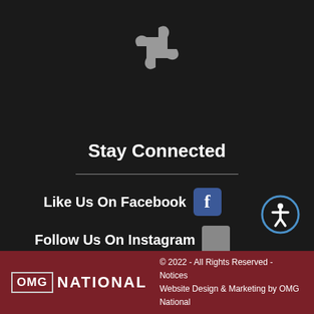[Figure (illustration): Gray puzzle piece icon centered at top of dark background]
Stay Connected
Like Us On Facebook
[Figure (logo): Facebook logo icon (blue square with white f)]
[Figure (logo): Accessibility/wheelchair icon in circular outline]
Follow Us On Instagram
[Figure (logo): Instagram icon placeholder (gray square)]
OMG NATIONAL © 2022 - All Rights Reserved - Notices Website Design & Marketing by OMG National